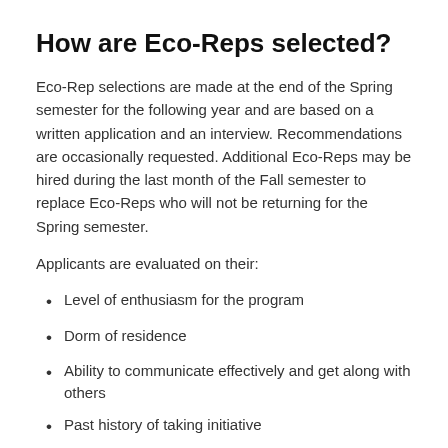How are Eco-Reps selected?
Eco-Rep selections are made at the end of the Spring semester for the following year and are based on a written application and an interview. Recommendations are occasionally requested. Additional Eco-Reps may be hired during the last month of the Fall semester to replace Eco-Reps who will not be returning for the Spring semester.
Applicants are evaluated on their:
Level of enthusiasm for the program
Dorm of residence
Ability to communicate effectively and get along with others
Past history of taking initiative